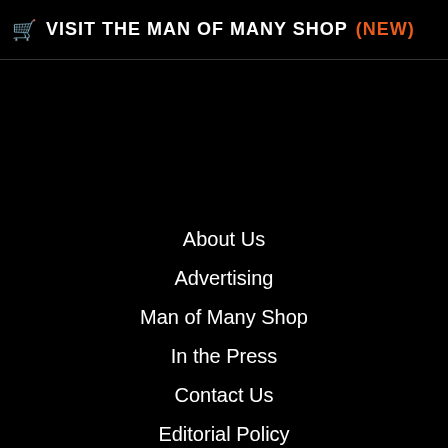VISIT THE MAN OF MANY SHOP (NEW)
About Us
Advertising
Man of Many Shop
In the Press
Contact Us
Editorial Policy
Privacy Policy
Terms and Conditions
Manage Subscription
Sitemap